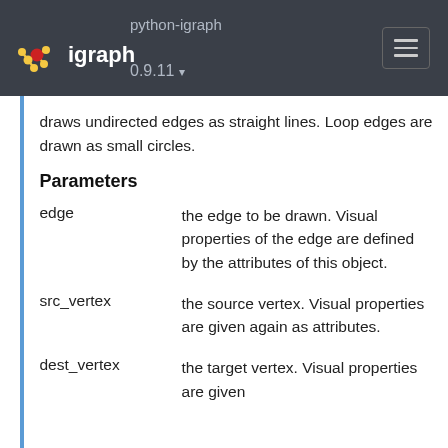python-igraph 0.9.11 — igraph
draws undirected edges as straight lines. Loop edges are drawn as small circles.
Parameters
| Parameter | Description |
| --- | --- |
| edge | the edge to be drawn. Visual properties of the edge are defined by the attributes of this object. |
| src_vertex | the source vertex. Visual properties are given again as attributes. |
| dest_vertex | the target vertex. Visual properties are given |